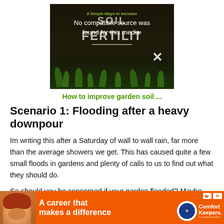[Figure (screenshot): Video thumbnail showing seedlings growing in dark soil with text overlay '8 Simple Ways to Increase Soil Fertility' and an error message 'No compatible source was found for this media.']
How to improve garden soil ...
Scenario 1: Flooding after a heavy downpour
Im writing this after a Saturday of wall to wall rain, far more than the average showers we get. This has caused quite a few small floods in gardens and plenty of calls to us to find out what they should do.
So should you be concerned if your garden flooded? Maybe,
[Figure (infographic): Advertisement banner: 'A career that makes a difference' with Comfort Keepers branding and a photo of a smiling woman with red curly hair]